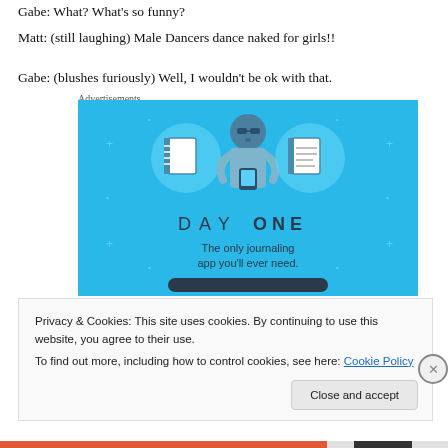Gabe: What? What's so funny?
Matt: (still laughing) Male Dancers dance naked for girls!!
Gabe: (blushes furiously) Well, I wouldn't be ok with that.
Advertisements
[Figure (illustration): Day One journaling app advertisement. Blue background with illustration of a person holding a phone, flanked by two circular icons showing a blank page and a lined document. Text reads 'DAY ONE' and 'The only journaling app you'll ever need.']
Privacy & Cookies: This site uses cookies. By continuing to use this website, you agree to their use.
To find out more, including how to control cookies, see here: Cookie Policy